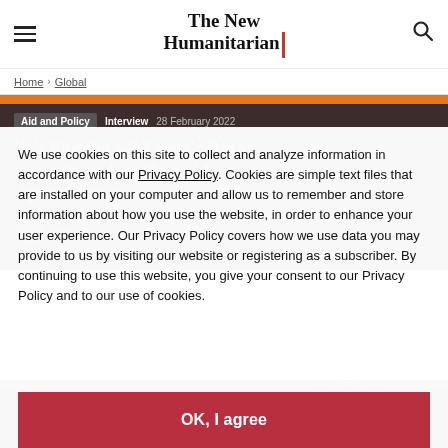The New Humanitarian
Home > Global
Aid and Policy  Interview  28 February 2022
It's like the wild west': Data security in frontline aid operations, a
We use cookies on this site to collect and analyze information in accordance with our Privacy Policy. Cookies are simple text files that are installed on your computer and allow us to remember and store information about how you use the website, in order to enhance your user experience. Our Privacy Policy covers how we use data you may provide to us by visiting our website or registering as a subscriber. By continuing to use this website, you give your consent to our Privacy Policy and to our use of cookies.
OK, I agree